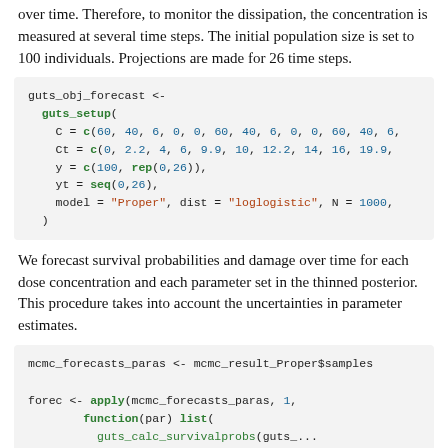over time. Therefore, to monitor the dissipation, the concentration is measured at several time steps. The initial population size is set to 100 individuals. Projections are made for 26 time steps.
[Figure (screenshot): R code block: guts_obj_forecast <- guts_setup(C = c(60, 40, 6, 0, 0, 60, 40, 6, 0, 0, 60, 40, 6, ...), Ct = c(0, 2.2, 4, 6, 9.9, 10, 12.2, 14, 16, 19.9, ...), y = c(100, rep(0,26)), yt = seq(0,26), model = "Proper", dist = "loglogistic", N = 1000, )]
We forecast survival probabilities and damage over time for each dose concentration and each parameter set in the thinned posterior. This procedure takes into account the uncertainties in parameter estimates.
[Figure (screenshot): R code block: mcmc_forecasts_paras <- mcmc_result_Proper$samples

forec <- apply(mcmc_forecasts_paras, 1,
        function(par) list(
          guts_calc_survivalprobs(guts_... guts_obj_fore...]